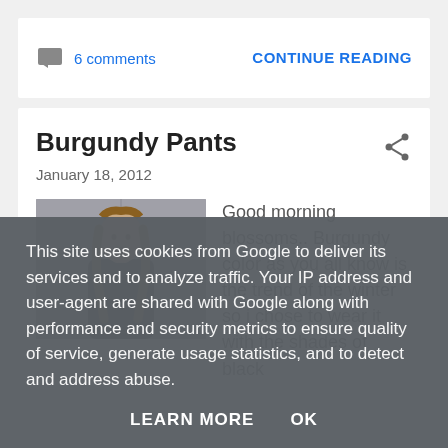6 comments
CONTINUE READING
Burgundy Pants
January 18, 2012
[Figure (photo): Woman with long wavy hair leaning against a concrete wall, wearing dark clothing]
Good morning blossoms.. Burgundy color as you all know is the trend of the winter so i chose to wear it with the shades of black
This site uses cookies from Google to deliver its services and to analyze traffic. Your IP address and user-agent are shared with Google along with performance and security metrics to ensure quality of service, generate usage statistics, and to detect and address abuse.
LEARN MORE   OK